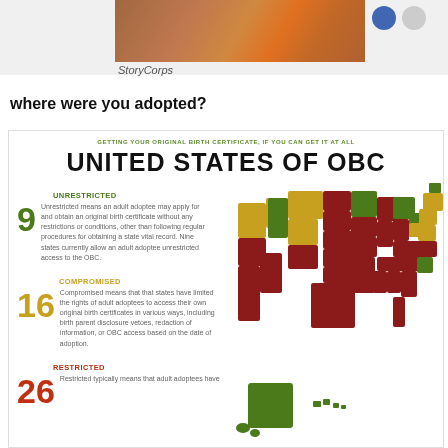[Figure (photo): Partial photo strip showing two people, one in orange clothing, with a StoryCorps label below]
StoryCorps
where were you adopted?
[Figure (infographic): Infographic titled 'UNITED STATES OF OBC' showing a map of the US color-coded by OBC access type with counts: 9 Unrestricted (green), 16 Compromised (gold/yellow), 26 Restricted (red)]
GETTING YOUR ORIGINAL BIRTH CERTIFICATE, IF YOU CAN GET IT AT ALL
UNITED STATES OF OBC
UNRESTRICTED
Unrestricted means an adult adoptee may apply for and obtain an original birth certificate without any restrictions or conditions, other than following regular procedures for obtaining a state vital record. Nine states currently allow an adult adoptee unrestricted access to the OBC.
COMPROMISED
Compromised means that that states have limited the rights of adult adoptees to access their own original birth certificates in various ways, including birth parent disclosure vetoes, redaction of information, or OBC access based on the date of adoption.
RESTRICTED
Restricted typically means that adult adoptees have